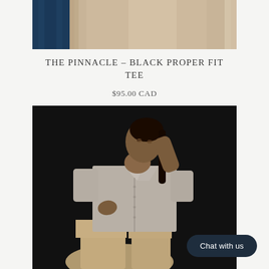[Figure (photo): Top portion of a product photo showing clothing items — a dark navy garment on the left and a beige/tan garment on the right, against a light background]
THE PINNACLE – BLACK PROPER FIT TEE
$95.00 CAD
[Figure (photo): A model wearing a light grey linen short-sleeve button-up shirt (proper fit tee) with wide-leg beige trousers, posed against a dark black background with eyes closed and hands near face/waist]
Chat with us